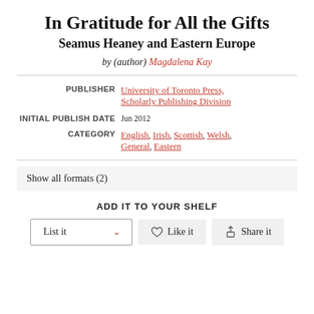In Gratitude for All the Gifts
Seamus Heaney and Eastern Europe
by (author) Magdalena Kay
| Label | Value |
| --- | --- |
| PUBLISHER | University of Toronto Press, Scholarly Publishing Division |
| INITIAL PUBLISH DATE | Jun 2012 |
| CATEGORY | English, Irish, Scottish, Welsh, General, Eastern |
Show all formats (2)
ADD IT TO YOUR SHELF
List it  ∨   ♡ Like it   Share it